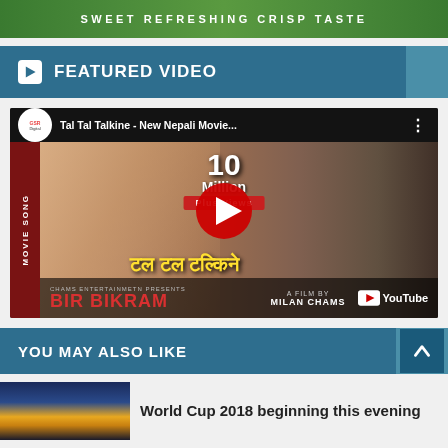[Figure (photo): Green banner advertisement with text SWEET REFRESHING CRISP TASTE]
FEATURED VIDEO
[Figure (screenshot): YouTube video thumbnail for Tal Tal Talkine - New Nepali Movie Song from BIR BIKRAM, CHAMS ENTERTAINMENT PRESENTS, A FILM BY MILAN CHAMS. Shows 10 Million Plus Views badge and red play button. Features two people in traditional Nepali attire.]
YOU MAY ALSO LIKE
[Figure (photo): Thumbnail image of a stadium at night with colorful lighting]
World Cup 2018 beginning this evening